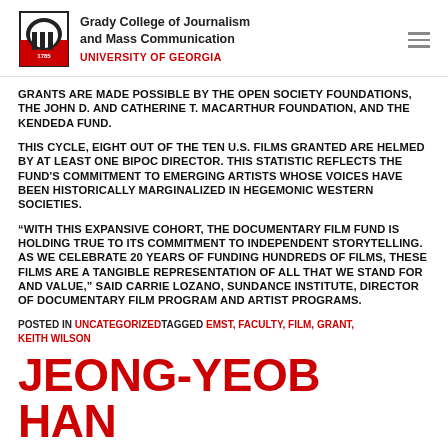Grady College of Journalism and Mass Communication UNIVERSITY OF GEORGIA
GRANTS ARE MADE POSSIBLE BY THE OPEN SOCIETY FOUNDATIONS, THE JOHN D. AND CATHERINE T. MACARTHUR FOUNDATION, AND THE KENDEDA FUND.
THIS CYCLE, EIGHT OUT OF THE TEN U.S. FILMS GRANTED ARE HELMED BY AT LEAST ONE BIPOC DIRECTOR. THIS STATISTIC REFLECTS THE FUND'S COMMITMENT TO EMERGING ARTISTS WHOSE VOICES HAVE BEEN HISTORICALLY MARGINALIZED IN HEGEMONIC WESTERN SOCIETIES.
“WITH THIS EXPANSIVE COHORT, THE DOCUMENTARY FILM FUND IS HOLDING TRUE TO ITS COMMITMENT TO INDEPENDENT STORYTELLING. AS WE CELEBRATE 20 YEARS OF FUNDING HUNDREDS OF FILMS, THESE FILMS ARE A TANGIBLE REPRESENTATION OF ALL THAT WE STAND FOR AND VALUE,” SAID CARRIE LOZANO, SUNDANCE INSTITUTE, DIRECTOR OF DOCUMENTARY FILM PROGRAM AND ARTIST PROGRAMS.
POSTED IN UNCATEGORIZEDTAGGED EMST, FACULTY, FILM, GRANT, KEITH WILSON
JEONG-YEOB HAN